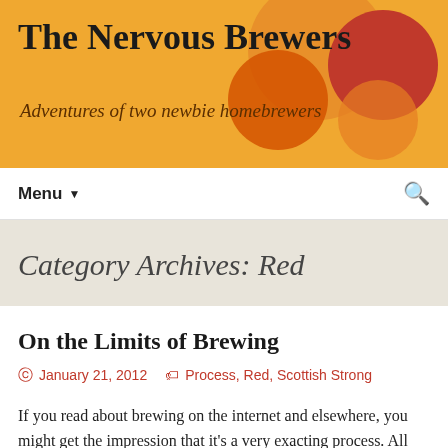The Nervous Brewers
Adventures of two newbie homebrewers
Menu ▼
Category Archives: Red
On the Limits of Brewing
© January 21, 2012   🏷 Process, Red, Scottish Strong
If you read about brewing on the internet and elsewhere, you might get the impression that it's a very exacting process. All those numbers and timetables, odd ingredients and names. It might feel like you ought to be watching for